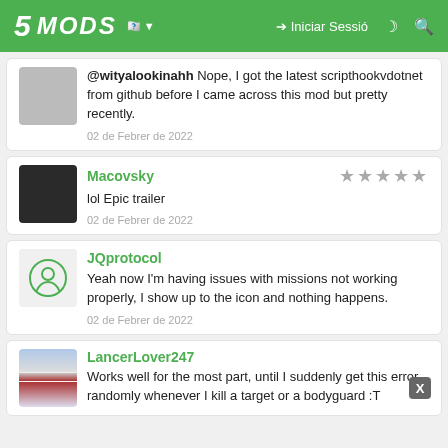[Figure (screenshot): 5MODS website header with green background, logo, Catalan flag, login button, and search/theme icons]
@wityalookinahh Nope, I got the latest scripthookvdotnet from github before I came across this mod but pretty recently.
02 de Febrer de 2022
Macovsky
lol Epic trailer
02 de Febrer de 2022
JQprotocol
Yeah now I'm having issues with missions not working properly, I show up to the icon and nothing happens.
02 de Febrer de 2022
LancerLover247
Works well for the most part, until I suddenly get this error randomly whenever I kill a target or a bodyguard :T